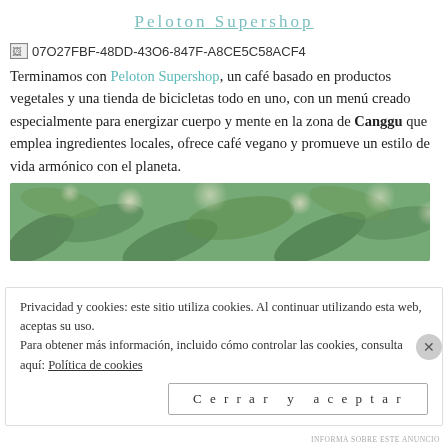Peloton Supershop
[Figure (other): Broken image placeholder with UUID filename: 07O27FBF-48DD-43O6-847F-A8CE5C58ACF4]
Terminamos con Peloton Supershop, un café basado en productos vegetales y una tienda de bicicletas todo en uno, con un menú creado especialmente para energizar cuerpo y mente en la zona de Canggu que emplea ingredientes locales, ofrece café vegano y promueve un estilo de vida armónico con el planeta.
[Figure (photo): Photo of green plants/foliage with soft bokeh light spots]
Privacidad y cookies: este sitio utiliza cookies. Al continuar utilizando esta web, aceptas su uso.
Para obtener más información, incluido cómo controlar las cookies, consulta aquí: Política de cookies
Cerrar y aceptar
INFORMA SOBRE ESTE ANUNCIO